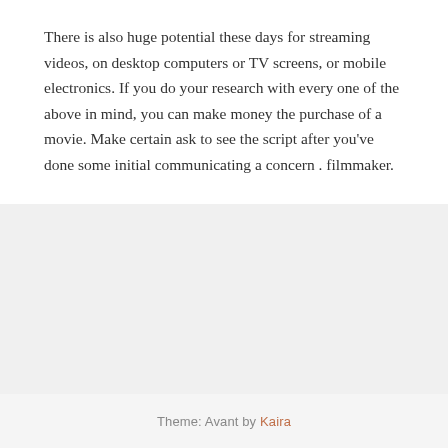There is also huge potential these days for streaming videos, on desktop computers or TV screens, or mobile electronics. If you do your research with every one of the above in mind, you can make money the purchase of a movie. Make certain ask to see the script after you've done some initial communicating a concern . filmmaker.
Theme: Avant by Kaira